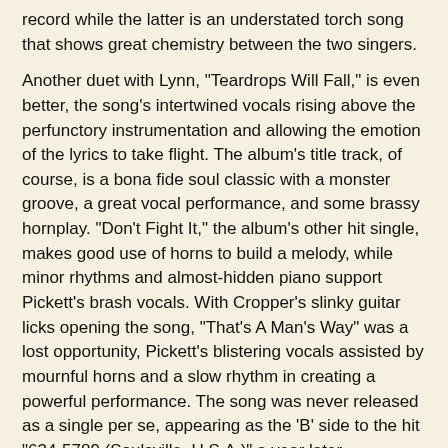record while the latter is an understated torch song that shows great chemistry between the two singers.

Another duet with Lynn, "Teardrops Will Fall," is even better, the song's intertwined vocals rising above the perfunctory instrumentation and allowing the emotion of the lyrics to take flight. The album's title track, of course, is a bona fide soul classic with a monster groove, a great vocal performance, and some brassy hornplay. "Don't Fight It," the album's other hit single, makes good use of horns to build a melody, while minor rhythms and almost-hidden piano support Pickett's brash vocals. With Cropper's slinky guitar licks opening the song, "That's A Man's Way" was a lost opportunity, Pickett's blistering vocals assisted by mournful horns and a slow rhythm in creating a powerful performance. The song was never released as a single per se, appearing as the 'B' side to the hit "634-5789 (Soulsville, U.S.A.)" a year later.
The Exciting Wilson Pickett
[Figure (photo): Black and white photograph, partially visible at bottom of page, appears to show a person]